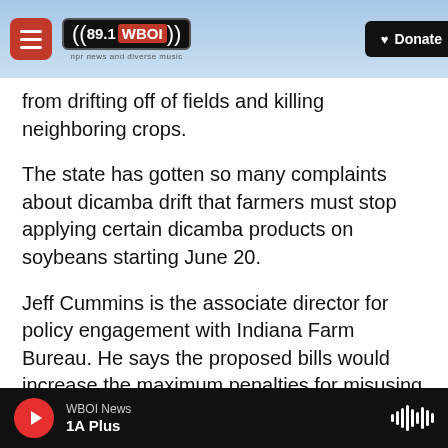89.1 WBOI | Donate
from drifting off of fields and killing neighboring crops.
The state has gotten so many complaints about dicamba drift that farmers must stop applying certain dicamba products on soybeans starting June 20.
Jeff Cummins is the associate director for policy engagement with Indiana Farm Bureau. He says the proposed bills would increase the maximum penalties for misusing all kinds of pesticides — something that hasn't been done in decades.
WBOI News | 1A Plus